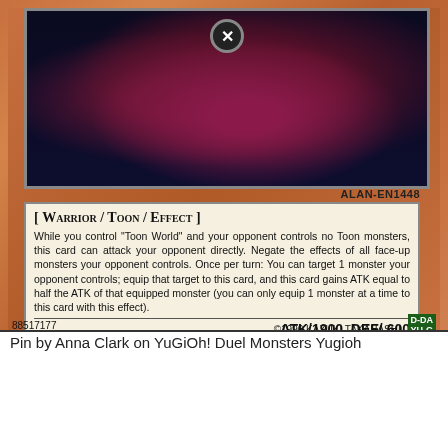[Figure (illustration): Yu-Gi-Oh trading card showing a Warrior/Toon/Effect monster. Card ID ALAN-EN1448 with artwork of a dark tentacled creature. ATK/1900 DEF/600. Card number 88517177. Copyright 1996 Kazuki Takahashi.]
Pin by Anna Clark on YuGiOh! Duel Monsters Yugioh
[Figure (illustration): Bottom portion of a Spanish Yu-Gi-Oh card titled 'Dragón Elemental' with light attribute symbol and R rating badge. Stars visible at bottom.]